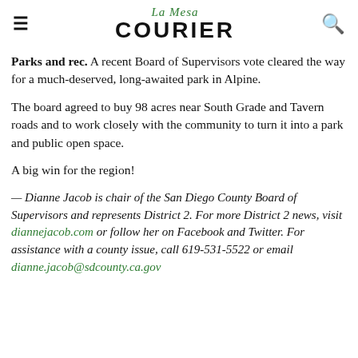La Mesa COURIER
Parks and rec. A recent Board of Supervisors vote cleared the way for a much-deserved, long-awaited park in Alpine.
The board agreed to buy 98 acres near South Grade and Tavern roads and to work closely with the community to turn it into a park and public open space.
A big win for the region!
— Dianne Jacob is chair of the San Diego County Board of Supervisors and represents District 2. For more District 2 news, visit diannejacob.com or follow her on Facebook and Twitter. For assistance with a county issue, call 619-531-5522 or email dianne.jacob@sdcounty.ca.gov